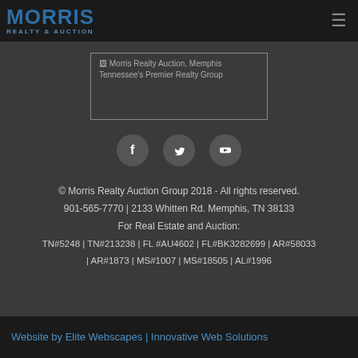MORRIS REALTY & AUCTION
[Figure (logo): Broken image placeholder: Morris Realty Auction, Memphis Tennessee's Premier Realty Group]
[Figure (infographic): Social media icons: Facebook, Twitter, YouTube circles]
© Morris Realty Auction Group 2018 - All rights reserved.
901-565-7770 | 2133 Whitten Rd. Memphis, TN 38133
For Real Estate and Auction:
TN#5248 | TN#213238 | FL #AU4602 | FL#BK3282699 | AR#58033 | AR#1873 | MS#1007 | MS#18505 | AL#1996
Website by Elite Webscapes | Innovative Web Solutions